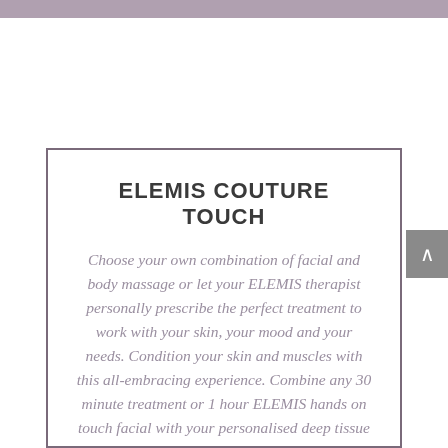ELEMIS COUTURE TOUCH
Choose your own combination of facial and body massage or let your ELEMIS therapist personally prescribe the perfect treatment to work with your skin, your mood and your needs. Condition your skin and muscles with this all-embracing experience. Combine any 30 minute treatment or 1 hour ELEMIS hands on touch facial with your personalised deep tissue